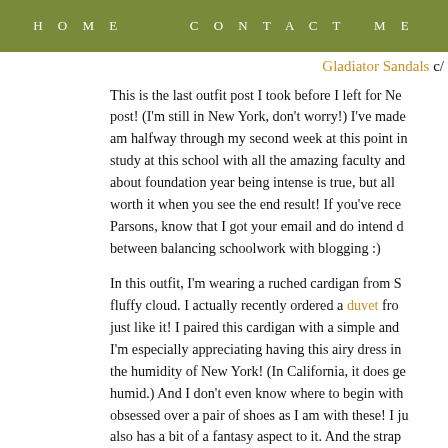HOME    CONTACT ME
Gladiator Sandals c/
This is the last outfit post I took before I left for Ne post! (I'm still in New York, don't worry!) I've made am halfway through my second week at this point in study at this school with all the amazing faculty and about foundation year being intense is true, but all worth it when you see the end result! If you've rece Parsons, know that I got your email and do intend c between balancing schoolwork with blogging :)
In this outfit, I'm wearing a ruched cardigan from S fluffy cloud. I actually recently ordered a duvet fro just like it! I paired this cardigan with a simple and I'm especially appreciating having this airy dress in the humidity of New York! (In California, it does ge humid.) And I don't even know where to begin with obsessed over a pair of shoes as I am with these! I ju also has a bit of a fantasy aspect to it. And the strap making your legs look more toned!
The next few days for me are going to be a lot of fun